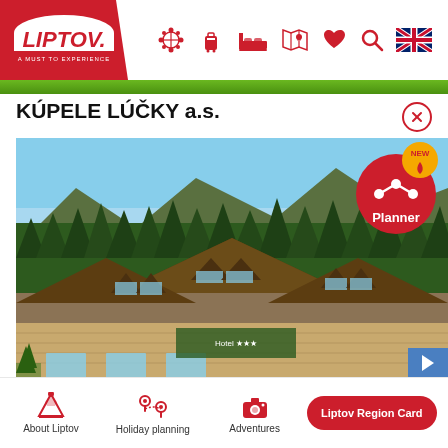[Figure (logo): Liptov logo - red background with white italic text LIPTOV and tagline A MUST TO EXPERIENCE]
[Figure (infographic): Navigation icons row: snowflake/covid, luggage, bed, map, heart, search, UK flag]
KÚPELE LÚČKY a.s.
[Figure (photo): Aerial photo of a wooden alpine hotel/spa building with brown shingle roofs and dormer windows, surrounded by dense green conifer forest and mountains under blue sky]
[Figure (infographic): Red circular Planner badge with NEW label, heart and scissors/route icon, and text Planner]
[Figure (infographic): Footer navigation: About Liptov icon, Holiday planning icon, Adventures camera icon, Liptov Region Card red button]